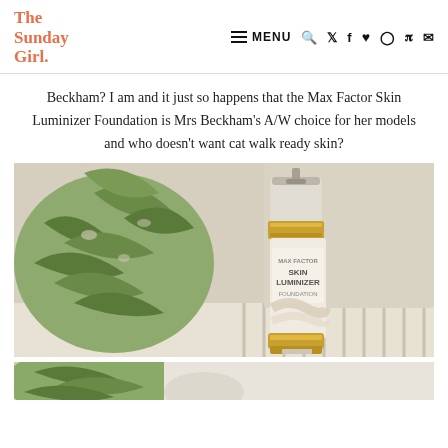The Sunday Girl. — MENU navigation bar with icons
Beckham? I am and it just so happens that the Max Factor Skin Luminizer Foundation is Mrs Beckham's A/W choice for her models and who doesn't want cat walk ready skin?
[Figure (photo): Product photo of Max Factor Skin Luminizer Foundation bottle on a striped surface with tropical green leaf fabric in the background]
[Figure (photo): Partial bottom photo showing green leaf fabric and white surface]